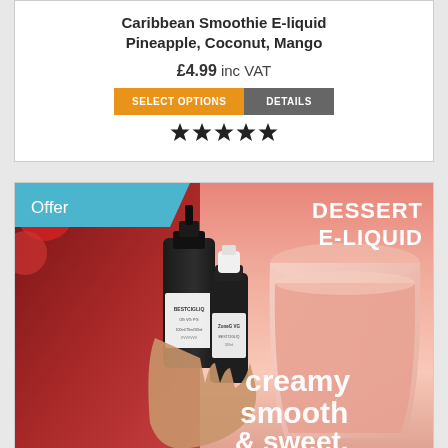Caribbean Smoothie E-liquid
Pineapple, Coconut, Mango
£4.99 inc VAT
SELECT OPTIONS   DETAILS
[Figure (other): Five filled star rating icons]
[Figure (photo): Product promotional image for DESSERT E-LIQUID showing e-liquid bottles (BESTCIG brand) held in front of a strawberry smoothie glass with the text 'creamy smooth & sweet.' overlaid. An 'Offer' badge in teal is in the top left corner.]